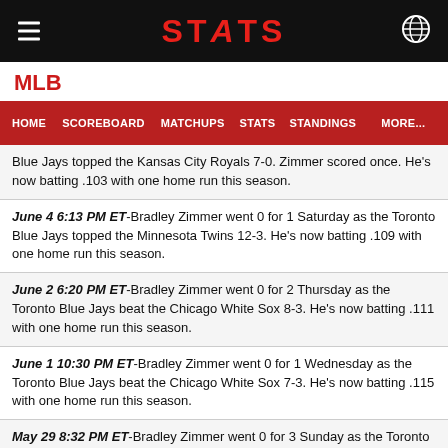STATS
MLB
HOME  SCOREBOARD  MATCHUPS  STATS  STANDINGS  MORE...
Blue Jays topped the Kansas City Royals 7-0. Zimmer scored once. He's now batting .103 with one home run this season.
June 4 6:13 PM ET-Bradley Zimmer went 0 for 1 Saturday as the Toronto Blue Jays topped the Minnesota Twins 12-3. He's now batting .109 with one home run this season.
June 2 6:20 PM ET-Bradley Zimmer went 0 for 2 Thursday as the Toronto Blue Jays beat the Chicago White Sox 8-3. He's now batting .111 with one home run this season.
June 1 10:30 PM ET-Bradley Zimmer went 0 for 1 Wednesday as the Toronto Blue Jays beat the Chicago White Sox 7-3. He's now batting .115 with one home run this season.
May 29 8:32 PM ET-Bradley Zimmer went 0 for 3 Sunday as the Toronto Blue Jays beat the Los Angeles Angels 11-10. He's now batting .118 with one home run this season.